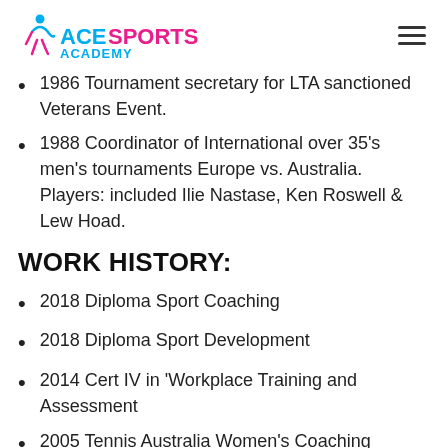ACE SPORTS ACADEMY
1986 Tournament secretary for LTA sanctioned Veterans Event.
1988 Coordinator of International over 35's men's tournaments Europe vs. Australia. Players: included Ilie Nastase, Ken Roswell & Lew Hoad.
WORK HISTORY:
2018 Diploma Sport Coaching
2018 Diploma Sport Development
2014 Cert IV in 'Workplace Training and Assessment
2005 Tennis Australia Women's Coaching